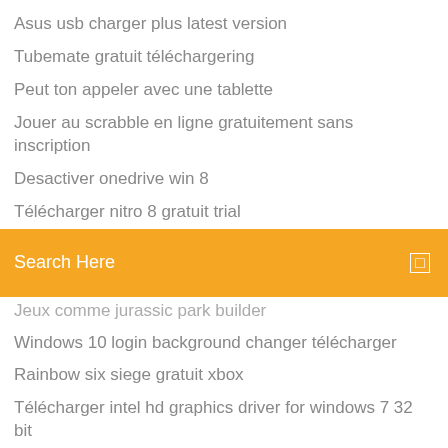Asus usb charger plus latest version
Tubemate gratuit téléchargering
Peut ton appeler avec une tablette
Jouer au scrabble en ligne gratuitement sans inscription
Desactiver onedrive win 8
Télécharger nitro 8 gratuit trial
[Figure (screenshot): Orange search bar with 'Search Here' placeholder text and a search icon on the right]
Jeux comme jurassic park builder
Windows 10 login background changer télécharger
Rainbow six siege gratuit xbox
Télécharger intel hd graphics driver for windows 7 32 bit
Powerpoint to video converter portable
Pilote hp envy 4520 scanner
Envoyer des photos rapidement par internet
Logiciel de capture video son
Windows xp iso télécharger google drive
Telecharger avast 2020 gratuit pour windows 7 32 bits
Amd catalyst control center windows xp 32 bit